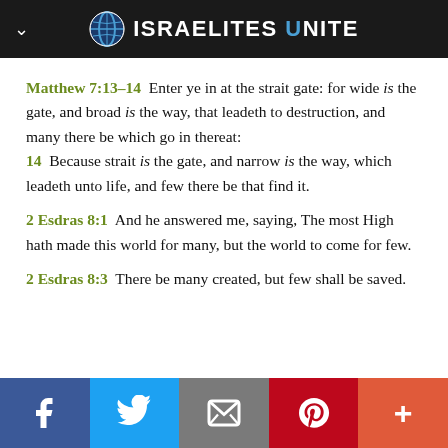ISRAELITES UNITE
Matthew 7:13–14  Enter ye in at the strait gate: for wide is the gate, and broad is the way, that leadeth to destruction, and many there be which go in thereat:
14  Because strait is the gate, and narrow is the way, which leadeth unto life, and few there be that find it.
2 Esdras 8:1  And he answered me, saying, The most High hath made this world for many, but the world to come for few.
2 Esdras 8:3  There be many created, but few shall be saved.
Facebook | Twitter | Email | Pinterest | More